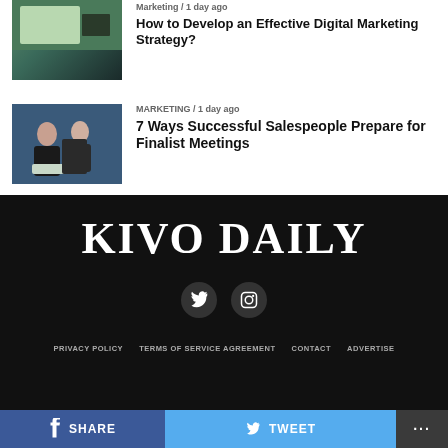[Figure (photo): Screenshot of a website displayed on a monitor]
[Figure (photo): Two people having a meeting, one with a laptop]
MARKETING / 1 day ago
7 Ways Successful Salespeople Prepare for Finalist Meetings
KIVO DAILY
[Figure (logo): Twitter social media icon button]
[Figure (logo): Instagram social media icon button]
PRIVACY POLICY   TERMS OF SERVICE AGREEMENT   CONTACT   ADVERTISE
SHARE   TWEET   ...